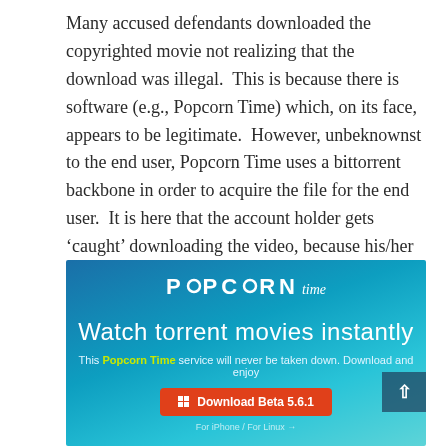Many accused defendants downloaded the copyrighted movie not realizing that the download was illegal. This is because there is software (e.g., Popcorn Time) which, on its face, appears to be legitimate. However, unbeknownst to the end user, Popcorn Time uses a bittorrent backbone in order to acquire the file for the end user. It is here that the account holder gets 'caught' downloading the video, because his/her real IP address is exposed as the Popcorn Time software joins one or more bittorrent swarms in order to acquire the video.
[Figure (screenshot): Screenshot of Popcorn Time software interface showing logo, tagline 'Watch torrent movies instantly', subtitle text, and Download Beta 5.6.1 button on a blue gradient background.]